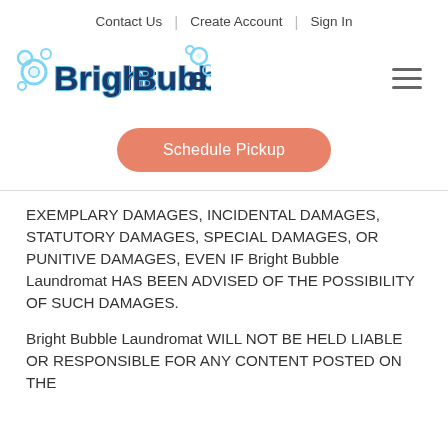Contact Us | Create Account | Sign In
[Figure (logo): Bright Bubble Laundromat logo with blue bubble lettering and decorative bubbles]
Schedule Pickup
EXEMPLARY DAMAGES, INCIDENTAL DAMAGES, STATUTORY DAMAGES, SPECIAL DAMAGES, OR PUNITIVE DAMAGES, EVEN IF Bright Bubble Laundromat HAS BEEN ADVISED OF THE POSSIBILITY OF SUCH DAMAGES.
Bright Bubble Laundromat WILL NOT BE HELD LIABLE OR RESPONSIBLE FOR ANY CONTENT POSTED ON THE